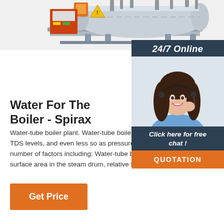[Figure (photo): Industrial water-tube boiler equipment on a frame, partially visible at top of page]
[Figure (photo): 24/7 Online chat widget with a smiling woman wearing a headset, with 'Click here for free chat!' text and an orange QUOTATION button]
Water For The Boiler - Spirax
Water-tube boiler plant. Water-tube boiler plant is less tolerant of high TDS levels, and even less so as pressure increases. This is due to a number of factors including: Water-tube boilers have a limited water surface area in the steam drum, relative to the evaporation rate.
Get Price